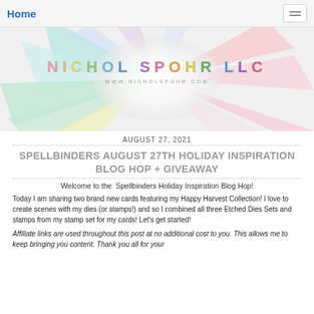Home
[Figure (illustration): Nichol Spohr LLC banner with colorful pencils radiating from center, text 'NICHOL SPOHR LLC' and 'WWW.NICHOLSPOHR.COM']
AUGUST 27, 2021
SPELLBINDERS AUGUST 27TH HOLIDAY INSPIRATION BLOG HOP + GIVEAWAY
Welcome to the  Spellbinders Holiday Inspiration Blog Hop!
Today I am sharing two brand new cards featuring my Happy Harvest Collection! I love to create scenes with my dies (or stamps!) and so I combined all three Etched Dies Sets and stamps from my stamp set for my cards! Let's get started!
Affiliate links are used throughout this post at no additional cost to you. This allows me to keep bringing you content. Thank you all for your